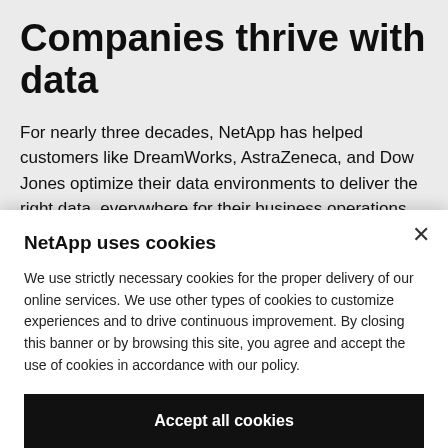Companies thrive with data
For nearly three decades, NetApp has helped customers like DreamWorks, AstraZeneca, and Dow Jones optimize their data environments to deliver the right data, everywhere for their business operations.
NetApp uses cookies
We use strictly necessary cookies for the proper delivery of our online services. We use other types of cookies to customize experiences and to drive continuous improvement. By closing this banner or by browsing this site, you agree and accept the use of cookies in accordance with our policy.
Accept all cookies
Cookie settings